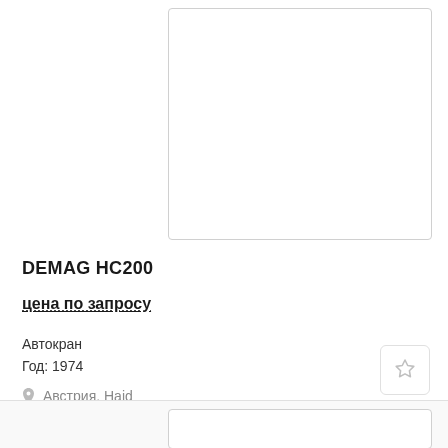[Figure (photo): Product image placeholder for DEMAG HC200 crane listing — white box with border]
DEMAG HC200
цена по запросу
Автокран
Год: 1974
Австрия, Haid
[Figure (photo): Product image placeholder for second listing — white box with border]